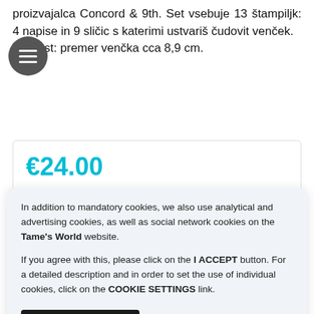proizvajalca Concord & 9th. Set vsebuje 13 štampiljk: 4 napise in 9 sličic s katerimi ustvariš čudovit venček. Velikost: premer venčka cca 8,9 cm.
€24.00
In addition to mandatory cookies, we also use analytical and advertising cookies, as well as social network cookies on the Tame's World website.

If you agree with this, please click on the I ACCEPT button. For a detailed description and in order to set the use of individual cookies, click on the COOKIE SETTINGS link.